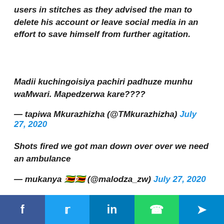users in stitches as they advised the man to delete his account or leave social media in an effort to save himself from further agitation.
Madii kuchingoisiya pachiri padhuze munhu waMwari. Mapedzerwa kare????
— tapiwa Mkurazhizha (@TMkurazhizha) July 27, 2020
Shots fired we got man down over over we need an ambulance
— mukanya 🇿🇼🇿🇼 (@malodza_zw) July 27, 2020